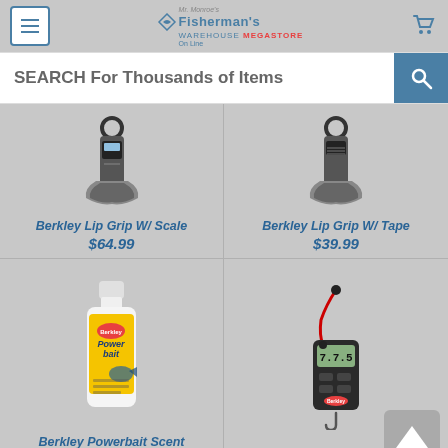[Figure (screenshot): Fisherman's Warehouse Megastore website header with menu button, logo, and shopping cart icon]
SEARCH For Thousands of Items
[Figure (illustration): Berkley Lip Grip W/ Scale product image - metal lip grip with ring]
Berkley Lip Grip W/ Scale
$64.99
[Figure (illustration): Berkley Lip Grip W/ Tape product image - metal lip grip with tape measure]
Berkley Lip Grip W/ Tape
$39.99
[Figure (photo): Berkley Powerbait Scent bottle - white bottle with yellow label]
Berkley Powerbait Scent
$4.99
[Figure (photo): Berkley Tournament Scale - 15 lbs. digital scale with red lanyard]
Berkley Tournament Scale – 15 lbs.